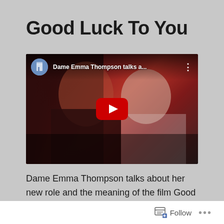Good Luck To You
[Figure (screenshot): YouTube video thumbnail showing Dame Emma Thompson being interviewed on a red carpet, with a YouTube play button overlay. Top bar shows channel avatar, title 'Dame Emma Thompson talks a...' and a three-dot menu icon.]
Dame Emma Thompson talks about her new role and the meaning of the film Good Luck To You, Leo Grande
Follow ...